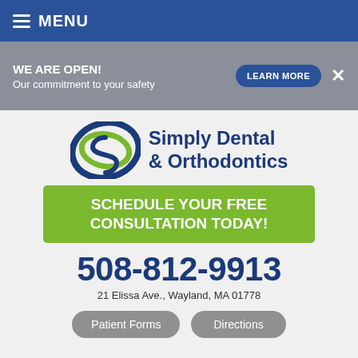MENU
WE ARE OPEN! Our commitment to your safety
LEARN MORE
[Figure (logo): Simply Dental & Orthodontics logo with stylized S in blue and green]
Simply Dental & Orthodontics
SCHEDULE YOUR FREE CONSULTATION TODAY!
508-812-9913
21 Elissa Ave., Wayland, MA 01778
Patient Forms
Directions